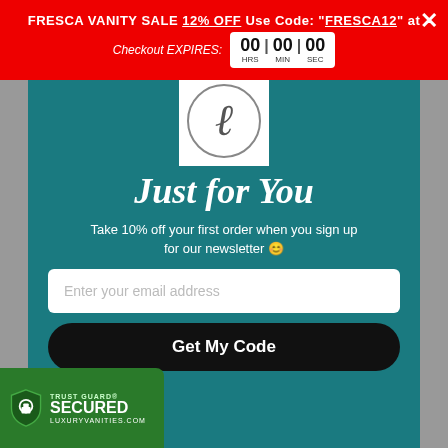FRESCA VANITY SALE 12% OFF Use Code: "FRESCA12" at Checkout EXPIRES: 00 HRS 00 MIN 00 SEC
[Figure (logo): Circular logo with cursive L letter, white background]
Just for You
Take 10% off your first order when you sign up for our newsletter 🙂
Enter your email address
Get My Code
Chat with us
[Figure (logo): Trust Guard Secured badge, green shield with lock icon]
VANITY